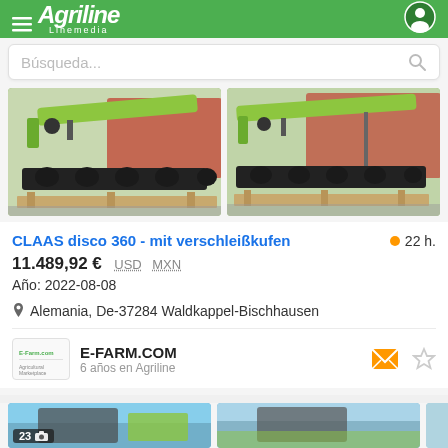Agriline Linemedia
Búsqueda...
[Figure (photo): Two photos of CLAAS disco 360 agricultural mower equipment with green frame and black cutting heads on wooden pallets]
CLAAS disco 360 - mit verschleißkufen
22 h.
11.489,92 € USD MXN
Año: 2022-08-08
Alemania, De-37284 Waldkappel-Bischhausen
E-FARM.COM
6 años en Agriline
[Figure (photo): Two partial photos of additional agricultural equipment listings at the bottom of the page]